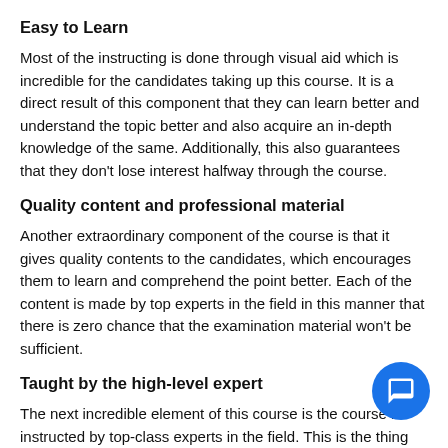Easy to Learn
Most of the instructing is done through visual aid which is incredible for the candidates taking up this course. It is a direct result of this component that they can learn better and understand the topic better and also acquire an in-depth knowledge of the same. Additionally, this also guarantees that they don't lose interest halfway through the course.
Quality content and professional material
Another extraordinary component of the course is that it gives quality contents to the candidates, which encourages them to learn and comprehend the point better. Each of the content is made by top experts in the field in this manner that there is zero chance that the examination material won't be sufficient.
Taught by the high-level expert
The next incredible element of this course is the course is instructed by top-class experts in the field. This is the thing that draws in the majority of the understudies to take up this course. The way the course is taught by top-class experts the understudies can learn and see better and furthermore they don't confront any trouble.